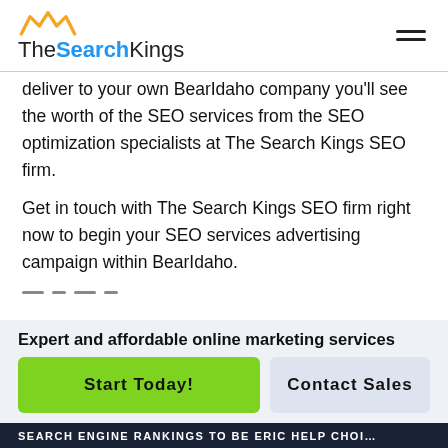TheSearchKings
deliver to your own BearIdaho company you'll see the worth of the SEO services from the SEO optimization specialists at The Search Kings SEO firm.
Get in touch with The Search Kings SEO firm right now to begin your SEO services advertising campaign within BearIdaho.
Expert and affordable online marketing services
Start Today!
Contact Sales
SEARCH ENGINE RANKINGS TO BE ERIC HELP CHOI...